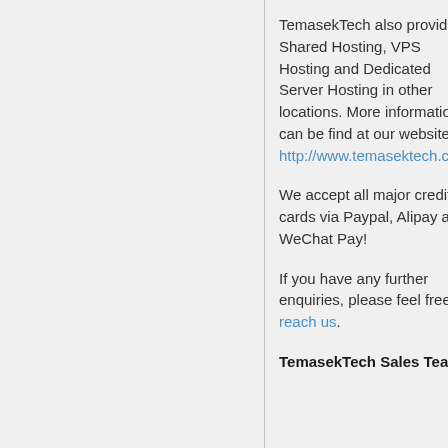TemasekTech also provide Shared Hosting, VPS Hosting and Dedicated Server Hosting in other locations. More information can be find at our website http://www.temasektech.com
We accept all major credit cards via Paypal, Alipay and WeChat Pay!
If you have any further enquiries, please feel free to reach us.
TemasekTech Sales Team